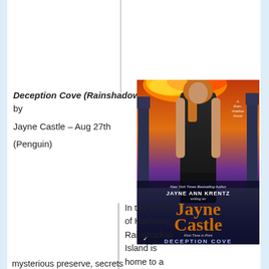Deception Cove (Rainshadow #2) by Jayne Castle – Aug 27th (Penguin)
[Figure (photo): Book cover of 'Deception Cove' by Jayne Ann Krentz writing as Jayne Castle. Shows a woman in black tank top and skirt against a dramatic fantasy background with fire, stone pillars, and mist. Text reads 'New York Times Bestselling Author Jayne Ann Krentz writing as Jayne Castle, First Time in Print, Deception Cove, A Rainshadow Novel'.]
In the world of Harmony, Rainshadow Island is home to a mysterious preserve, secrets